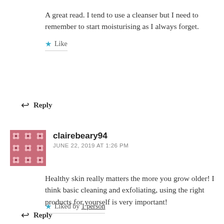A great read. I tend to use a cleanser but I need to remember to start moisturising as I always forget.
★ Like
↩ Reply
clairebeary94
JUNE 22, 2019 AT 1:26 PM
Healthy skin really matters the more you grow older! I think basic cleaning and exfoliating, using the right products for yourself is very important!
★ Liked by 1 person
↩ Reply